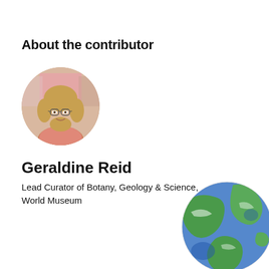About the contributor
[Figure (photo): Circular headshot photo of Geraldine Reid, a woman with blonde hair and glasses, wearing a pink top, in an indoor museum-like setting with pink display boards in background.]
Geraldine Reid
Lead Curator of Botany, Geology & Science, World Museum
[Figure (illustration): Partial globe illustration showing Earth with green landmasses and blue oceans, partially visible in the bottom-right corner of the page.]